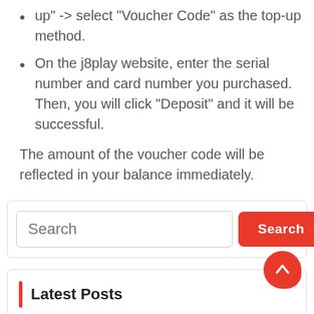up" -> select "Voucher Code" as the top-up method.
On the j8play website, enter the serial number and card number you purchased. Then, you will click "Deposit" and it will be successful.
The amount of the voucher code will be reflected in your balance immediately.
[Figure (screenshot): Search bar with placeholder text 'Search' and a red 'Search' button]
Latest Posts